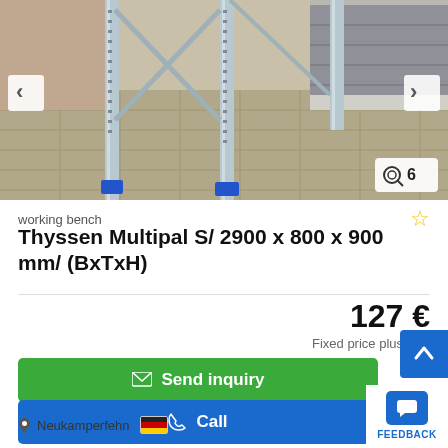[Figure (photo): Metal shelving rack/working bench with blue feet on an outdoor brick paved surface, multiple vertical posts visible]
working bench
Thyssen Multipal S/ 2900 x 800 x 900 mm/ (BxTxH)
127 €
Fixed price plus VAT
Send inquiry
Call
Neukamperfehn
FEEDBACK